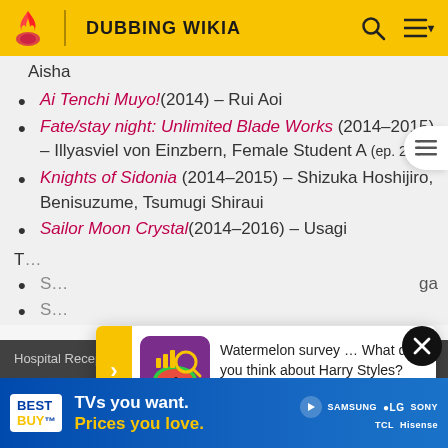DUBBING WIKIA
Aisha
Ai Tenchi Muyo! (2014) – Rui Aoi
Fate/stay night: Unlimited Blade Works (2014–2015) – Illyasviel von Einzbern, Female Student A (ep. 2)
Knights of Sidonia (2014–2015) – Shizuka Hoshijiro, Benisuzume, Tsumugi Shiraui
Sailor Moon Crystal (2014–2016) – Usagi
Hospital Receptionist A (ep. 22), High School Girl (ep...
[Figure (infographic): Watermelon survey popup ad asking about Harry Styles with a Take the Survey Here link]
[Figure (infographic): Best Buy advertisement: TVs you want. Prices you love. Samsung LG Sony TCL Hisense]